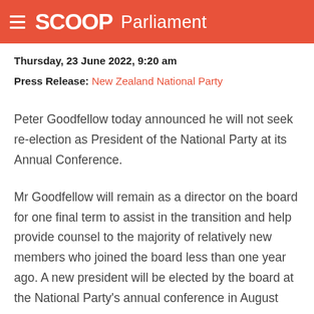SCOOP Parliament
Thursday, 23 June 2022, 9:20 am
Press Release: New Zealand National Party
Peter Goodfellow today announced he will not seek re-election as President of the National Party at its Annual Conference.
Mr Goodfellow will remain as a director on the board for one final term to assist in the transition and help provide counsel to the majority of relatively new members who joined the board less than one year ago. A new president will be elected by the board at the National Party's annual conference in August